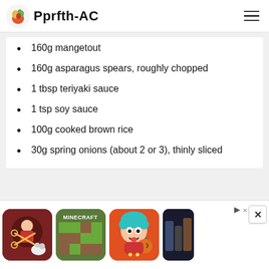Pprfth-AC
160g mangetout
160g asparagus spears, roughly chopped
1 tbsp teriyaki sauce
1 tsp soy sauce
100g cooked brown rice
30g spring onions (about 2 or 3), thinly sliced
[Figure (screenshot): Advertisement banner showing app/game icons including Minecraft and other mobile games with a close button and ad indicator]